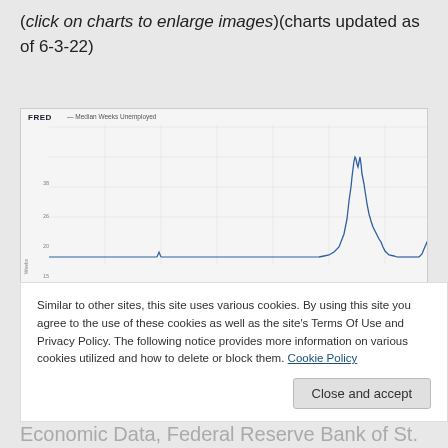( click on charts to enlarge images)(charts updated as of 6-3-22)
[Figure (continuous-plot): FRED line chart showing Median Weeks Unemployed over time. The line is mostly flat and low until a sharp spike near the right side of the chart (likely around 2020-2021), reaching about 25-30 weeks, then declining, with another smaller spike visible at the far right.]
Similar to other sites, this site uses various cookies. By using this site you agree to the use of these cookies as well as the site's Terms Of Use and Privacy Policy. The following notice provides more information on various cookies utilized and how to delete or block them. Cookie Policy
Data Source: FRED, Federal Reserve Economic Data, Federal Reserve Bank of St.